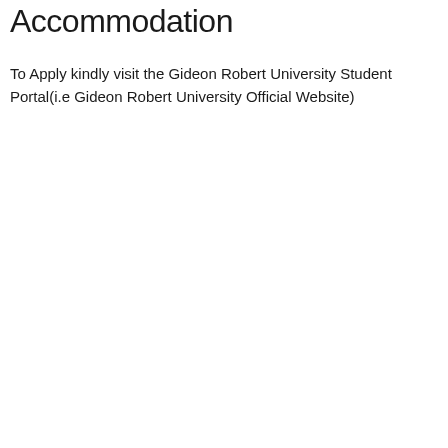Accommodation
To Apply kindly visit the Gideon Robert University Student Portal(i.e Gideon Robert University Official Website)